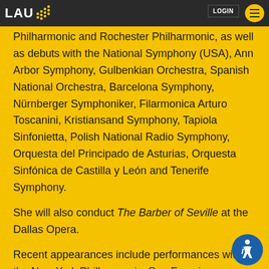LAU [logo with dots] LOGIN [hamburger menu]
Philharmonic and Rochester Philharmonic, as well as debuts with the National Symphony (USA), Ann Arbor Symphony, Gulbenkian Orchestra, Spanish National Orchestra, Barcelona Symphony, Nürnberger Symphoniker, Filarmonica Arturo Toscanini, Kristiansand Symphony, Tapiola Sinfonietta, Polish National Radio Symphony, Orquesta del Principado de Asturias, Orquesta Sinfónica de Castilla y León and Tenerife Symphony.
She will also conduct The Barber of Seville at the Dallas Opera.
Recent appearances include performances with the New York Philharmonic, San Francisco Symphony, Philadelphia Orchestra, Rochester Philharmonic, Seattle Symphony, San Antonio Symphony, Louisiana Philharmonic, Rhode Island Philharmonic, Orquesta Sinfónica Nacional de Colombia, and Filarmónica de Medellín. She has had the opportunity to work with world- renowned artists such as Yefim Bronfman, Pinchas Zukerman, Giancarlo Guerrero, Zubin Mehta, Marin Alsop and